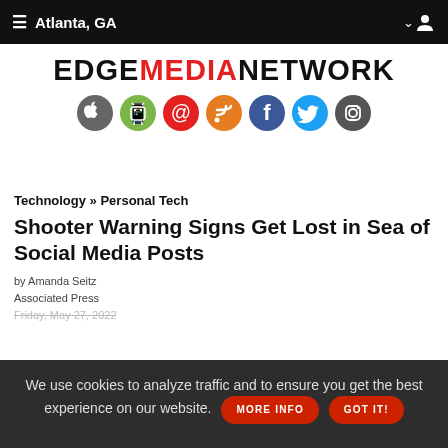≡ Atlanta, GA ∨
[Figure (logo): EDGE MEDIA NETWORK logo with social media icons: Apple, Android, email, RSS, Facebook, Twitter, Instagram]
Technology » Personal Tech
Shooter Warning Signs Get Lost in Sea of Social Media Posts
by Amanda Seitz
Associated Press
Friday, May 27, 2022
We use cookies to analyze traffic and to ensure you get the best experience on our website. MORE INFO GOT IT!